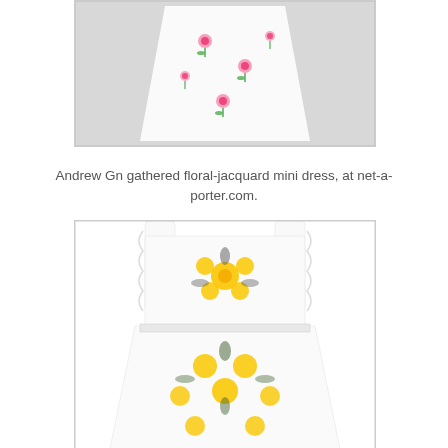[Figure (photo): Andrew Gn gathered floral-jacquard mini dress with pink roses on white fabric, product photo on gray background, top portion visible]
Andrew Gn gathered floral-jacquard mini dress, at net-a-porter.com.
[Figure (photo): A white mini dress with yellow and dark green floral jacquard pattern, featuring ruffled straps, smocked waist, partial product photo]